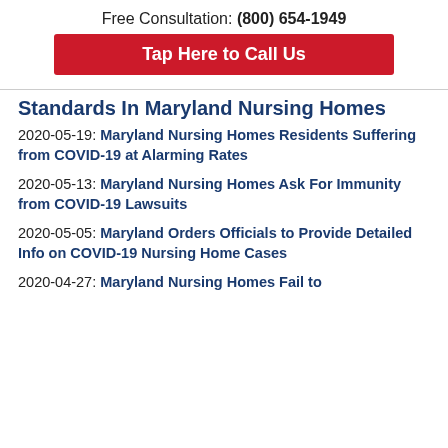Free Consultation: (800) 654-1949
Tap Here to Call Us
Standards In Maryland Nursing Homes
2020-05-19: Maryland Nursing Homes Residents Suffering from COVID-19 at Alarming Rates
2020-05-13: Maryland Nursing Homes Ask For Immunity from COVID-19 Lawsuits
2020-05-05: Maryland Orders Officials to Provide Detailed Info on COVID-19 Nursing Home Cases
2020-04-27: Maryland Nursing Homes Fail to